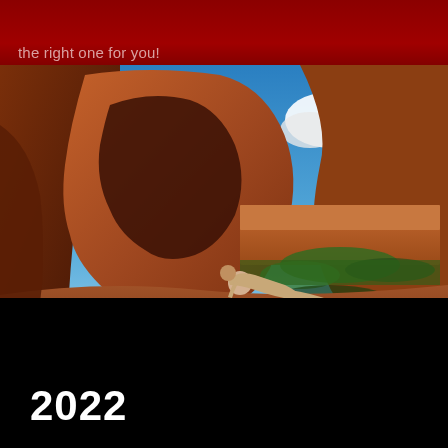the right one for you!
[Figure (photo): A person reclining on red sandstone rock formations in a desert canyon landscape, with blue sky and white clouds visible in the background. Dramatic red rock arches and formations surround the scene, with green vegetation visible in the middle distance.]
2022